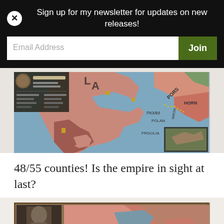Sign up for my newsletter for updates on new releases!
Email Address
Join
[Figure (screenshot): A screenshot of a medieval strategy game map showing Scandinavian regions and surrounding territories with a character info panel in the upper left.]
48/55 counties!  Is the empire in sight at last?
[Figure (screenshot): Partial screenshot of a medieval game showing a character portrait on the left and a map on the right.]